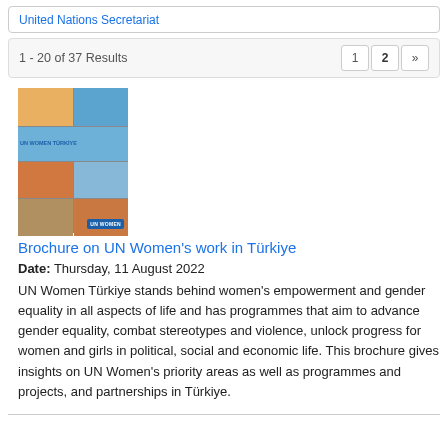United Nations Secretariat
1 - 20 of 37 Results
[Figure (other): Thumbnail cover image of UN Women Türkiye brochure showing a mosaic of photos of women and girls]
Brochure on UN Women's work in Türkiye
Date: Thursday, 11 August 2022
UN Women Türkiye stands behind women's empowerment and gender equality in all aspects of life and has programmes that aim to advance gender equality, combat stereotypes and violence, unlock progress for women and girls in political, social and economic life. This brochure gives insights on UN Women's priority areas as well as programmes and projects, and partnerships in Türkiye.